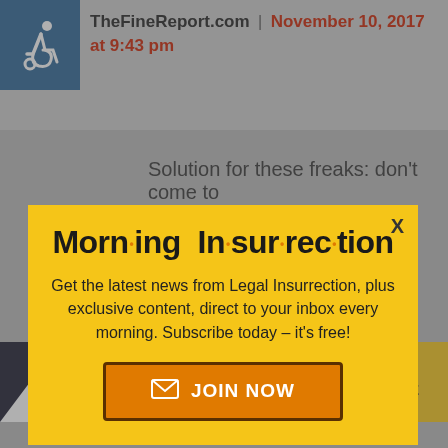TheFineReport.com | November 10, 2017 at 9:43 pm
Solution for these freaks: don't come to
[Figure (screenshot): Morning Insurrection newsletter signup modal overlay with yellow background, close X button, title 'Morn·ing In·sur·rec·tion', descriptive text, and JOIN NOW button]
warriors..."
[Figure (infographic): The Perspective advertisement banner: 'SEE WHAT YOU'RE MISSING' with READ MORE button]
appointed term